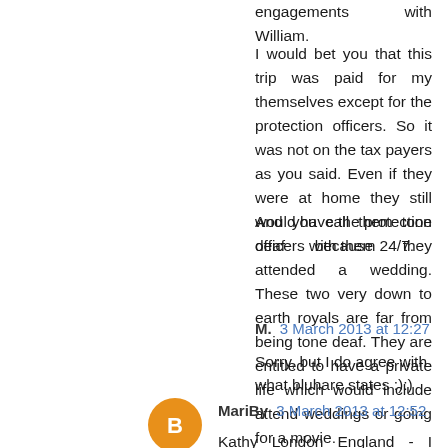engagements with William.
I would bet you that this trip was paid for my themselves except for the protection officers. So it was not on the tax payers as you said. Even if they were at home they still would have the protection officers with them 24/7.
And you call them tone deaf because they attended a wedding. These two very down to earth royals are far from being tone deaf. They are entitled to have a private life which would include attend weddings or going for a movie.
M. 3 March 2013 at 12:27
Sorry, but I do agree with what bluhare states :):)
MariBy 3 March 2013 at 12:52
Kathy London England - I agree with what you